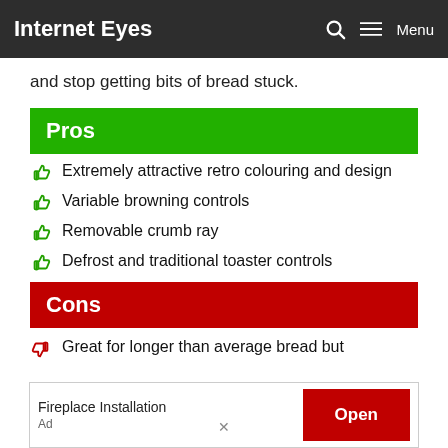Internet Eyes  Menu
and stop getting bits of bread stuck.
Pros
Extremely attractive retro colouring and design
Variable browning controls
Removable crumb ray
Defrost and traditional toaster controls
Cons
Great for longer than average bread but
Fireplace Installation  Ad  Open